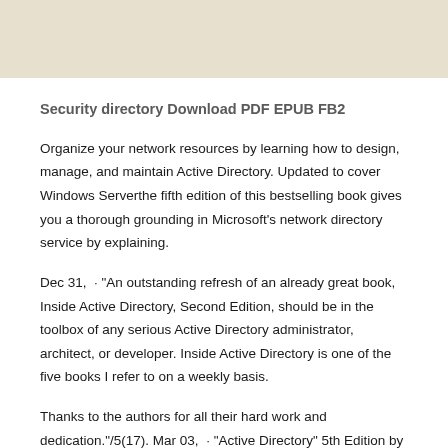Security directory Download PDF EPUB FB2
Organize your network resources by learning how to design, manage, and maintain Active Directory. Updated to cover Windows Serverthe fifth edition of this bestselling book gives you a thorough grounding in Microsoft’s network directory service by explaining.
Dec 31,  · “An outstanding refresh of an already great book, Inside Active Directory, Second Edition, should be in the toolbox of any serious Active Directory administrator, architect, or developer. Inside Active Directory is one of the five books I refer to on a weekly basis.
Thanks to the authors for all their hard work and dedication.”/5(17). Mar 03,  · “Active Directory” 5th Edition by Brian Desmond from O’Reilly.
[The “Cat with Kitten” book.] It has always been an excellent and fairly